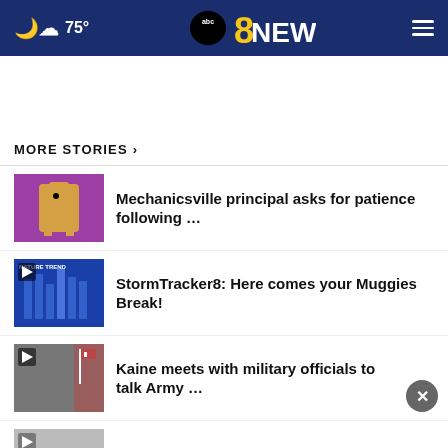75° abc8NEWS
MORE STORIES ›
Mechanicsville principal asks for patience following …
StormTracker8: Here comes your Muggies Break!
Kaine meets with military officials to talk Army …
Youngkin's push to increase school resource officers …